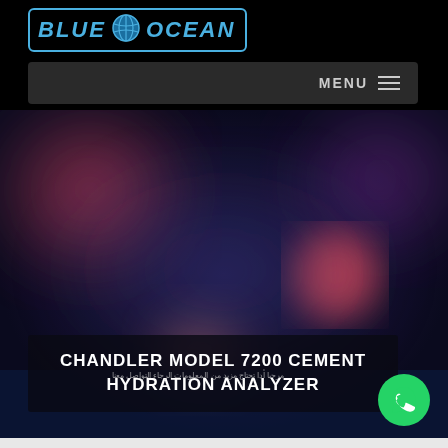[Figure (logo): Blue Ocean company logo with globe icon, blue text on black background with blue border]
MENU ≡
[Figure (photo): Abstract bokeh background with dark blue/purple tones and red/pink circular light blurs]
CHANDLER MODEL 7200 CEMENT HYDRATION ANALYZER